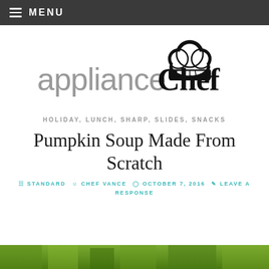≡ MENU
[Figure (logo): applianceChef logo with chef hat icon — 'appliance' in gray and 'Chef' in black bold with a chef hat above the C]
HOLIDAY, LUNCH, SHARP, SLIDES, SNACKS
Pumpkin Soup Made From Scratch
STANDARD   CHEF VANCE   OCTOBER 7, 2016   LEAVE A RESPONSE
[Figure (photo): Partial photo of food/vegetable scene at bottom of page]